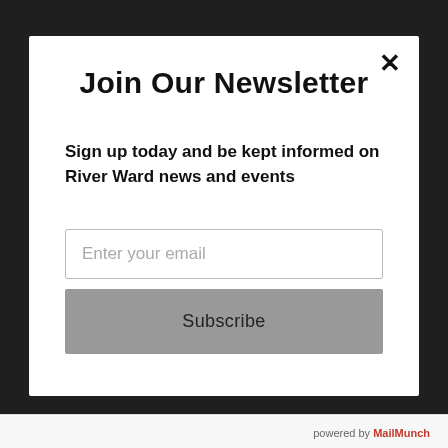Join Our Newsletter
Sign up today and be kept informed on River Ward news and events
Enter your email
Subscribe
powered by MailMunch